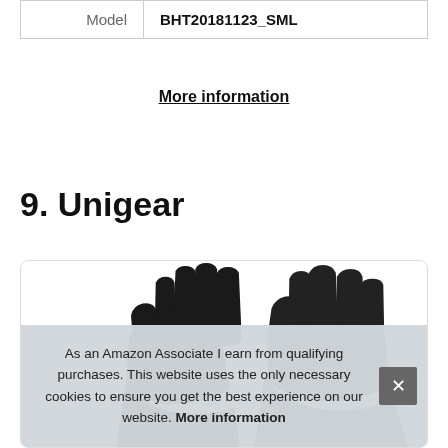| Model | BHT20181123_SML |
More information
9. Unigear
[Figure (photo): Photo of black winter gloves shown from above against a white background inside a rounded-corner card]
As an Amazon Associate I earn from qualifying purchases. This website uses the only necessary cookies to ensure you get the best experience on our website. More information